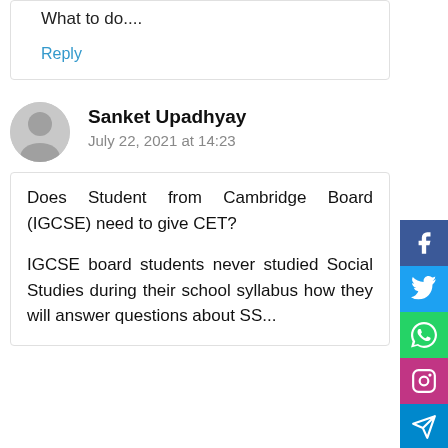What to do....
Reply
Sanket Upadhyay
July 22, 2021 at 14:23
Does Student from Cambridge Board (IGCSE) need to give CET?
IGCSE board students never studied Social Studies during their school syllabus how they will answer questions about SS...